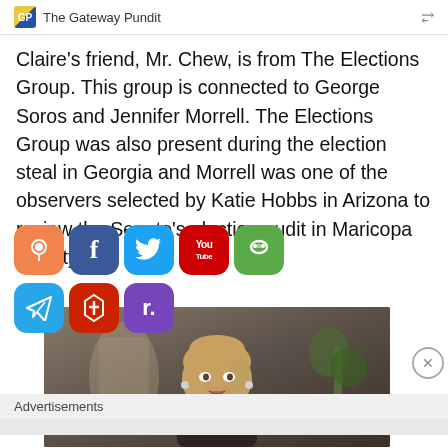GP The Gateway Pundit
Claire's friend, Mr. Chew, is from The Elections Group. This group is connected to George Soros and Jennifer Morrell. The Elections Group was also present during the election steal in Georgia and Morrell was one of the observers selected by Katie Hobbs in Arizona to review the Senate's election audit in Maricopa County.
[Figure (screenshot): Social media sharing icons overlaid on article text: RSS (orange), Facebook (blue), Twitter (light blue), YouTube (red), Frog/Gab (green), Telegram (blue), Torch app (red), T (purple)]
[Figure (photo): Video thumbnail showing a blonde woman speaking, appears to be in a home setting with a plant visible on the right side]
Advertisements